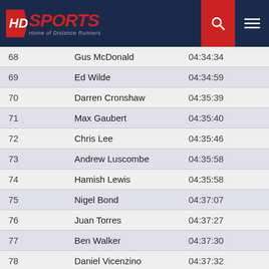HD Sports - Home of Distance Runners
| Rank | Name | Time |
| --- | --- | --- |
| 68 | Gus McDonald | 04:34:34 |
| 69 | Ed Wilde | 04:34:59 |
| 70 | Darren Cronshaw | 04:35:39 |
| 71 | Max Gaubert | 04:35:40 |
| 72 | Chris Lee | 04:35:46 |
| 73 | Andrew Luscombe | 04:35:58 |
| 74 | Hamish Lewis | 04:35:58 |
| 75 | Nigel Bond | 04:37:07 |
| 76 | Juan Torres | 04:37:27 |
| 77 | Ben Walker | 04:37:30 |
| 78 | Daniel Vicenzino | 04:37:32 |
| 79 | Damien Barbour | 04:38:04 |
| 80 | Joshua Smith | 04:38:32 |
| 81 | Dylan Watt | 04:38:35 |
| 82 | Lachlan skinner | 04:38:46 |
| 83 | Mish Allinson | 04:38:48 |